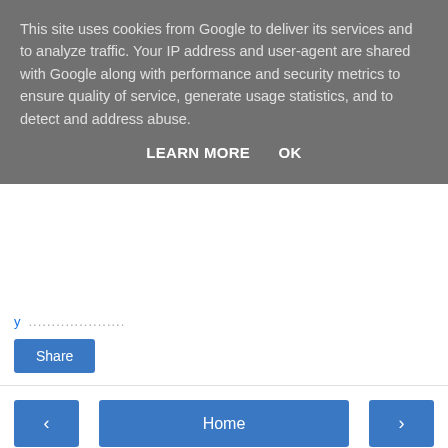This site uses cookies from Google to deliver its services and to analyze traffic. Your IP address and user-agent are shared with Google along with performance and security metrics to ensure quality of service, generate usage statistics, and to detect and address abuse.
LEARN MORE   OK
Share
‹   Home   ›
View web version
Contributors
The Tykester
stevecreek
Powered by Blogger.